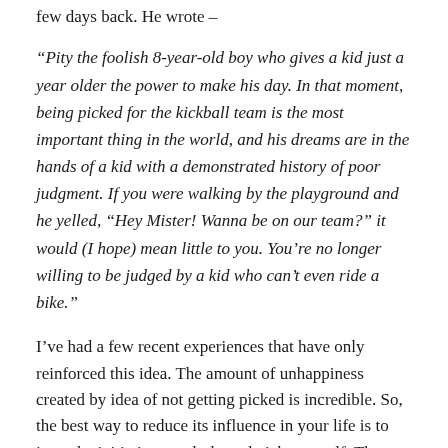few days back. He wrote –
“Pity the foolish 8-year-old boy who gives a kid just a year older the power to make his day. In that moment, being picked for the kickball team is the most important thing in the world, and his dreams are in the hands of a kid with a demonstrated history of poor judgment. If you were walking by the playground and he yelled, “Hey Mister! Wanna be on our team?” it would (I hope) mean little to you. You’re no longer willing to be judged by a kid who can’t even ride a bike.”
I’ve had a few recent experiences that have only reinforced this idea. The amount of unhappiness created by idea of not getting picked is incredible. So, the best way to reduce its influence in your life is to just take initiative regularly and pick yourself. There are going to be many many areas where you will be engaged in the picking process anyway –